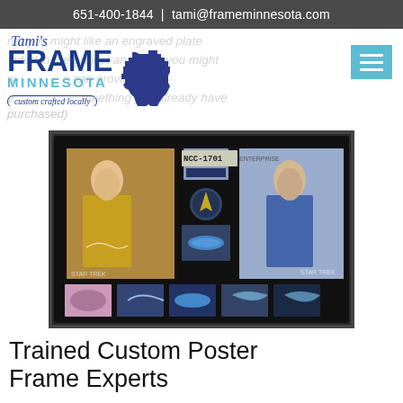651-400-1844  |  tami@frameminnesota.com
[Figure (logo): Tami's Frame Minnesota logo with custom crafted locally tagline and Minnesota state shape silhouette]
not you might like an engraved plate included in the project and what you might w... e can provide the e... omething you already have purchased)
[Figure (photo): Custom framed Star Trek memorabilia collage in black frame with black mat, containing signed photo of Captain Kirk, photo of Spock, Star Trek patches/stamps, and various spacecraft images]
Trained Custom Poster Frame Experts